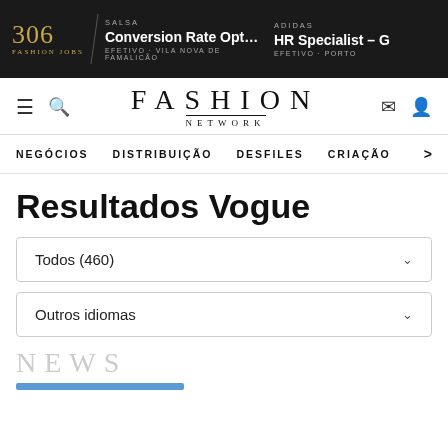[Figure (screenshot): Dark banner showing 306 Fashion Jobs, Salsa Conversion Rate Optim... job in Vila Nova de Famalicão, and Adidas HR Specialist - G job in Porto]
FASHION NETWORK
NEGÓCIOS   DISTRIBUIÇÃO   DESFILES   CRIAÇÃO   >
Resultados Vogue
Todos (460)
Outros idiomas
NEWS